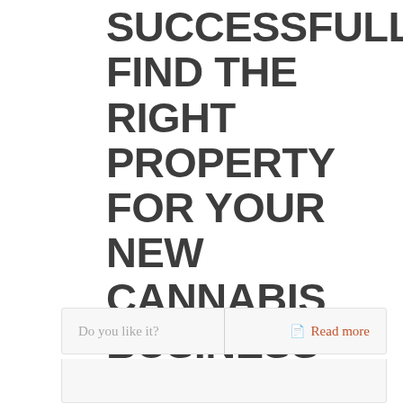SUCCESSFULLY FIND THE RIGHT PROPERTY FOR YOUR NEW CANNABIS BUSINESS
This guide will provide some of the most important considerations to ensure that the property you choose meets your business's requirements [...]
Do you like it?
Read more